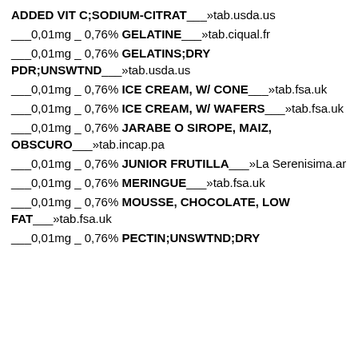ADDED VIT C;SODIUM-CITRAT___»tab.usda.us
___0,01mg _ 0,76% GELATINE___»tab.ciqual.fr
___0,01mg _ 0,76% GELATINS;DRY PDR;UNSWTND___»tab.usda.us
___0,01mg _ 0,76% ICE CREAM, W/ CONE___»tab.fsa.uk
___0,01mg _ 0,76% ICE CREAM, W/ WAFERS___»tab.fsa.uk
___0,01mg _ 0,76% JARABE O SIROPE, MAIZ, OBSCURO___»tab.incap.pa
___0,01mg _ 0,76% JUNIOR FRUTILLA___»La Serenisima.ar
___0,01mg _ 0,76% MERINGUE___»tab.fsa.uk
___0,01mg _ 0,76% MOUSSE, CHOCOLATE, LOW FAT___»tab.fsa.uk
___0,01mg _ 0,76% PECTIN;UNSWTND;DRY